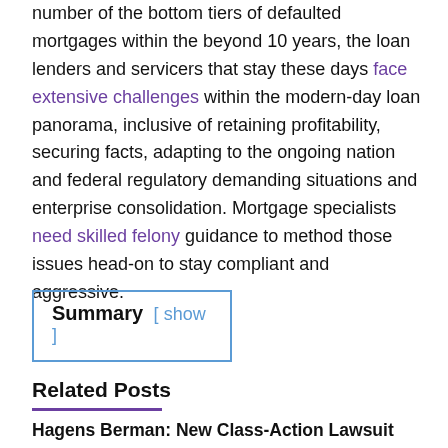number of the bottom tiers of defaulted mortgages within the beyond 10 years, the loan lenders and servicers that stay these days face extensive challenges within the modern-day loan panorama, inclusive of retaining profitability, securing facts, adapting to the ongoing nation and federal regulatory demanding situations and enterprise consolidation. Mortgage specialists need skilled felony guidance to method those issues head-on to stay compliant and aggressive.
Summary [ show ]
Related Posts
Hagens Berman: New Class-Action Lawsuit Accuses Nation's Biggest Real Estate Broker Franchisors of Massive Commission Pocket, Costing Home Sellers